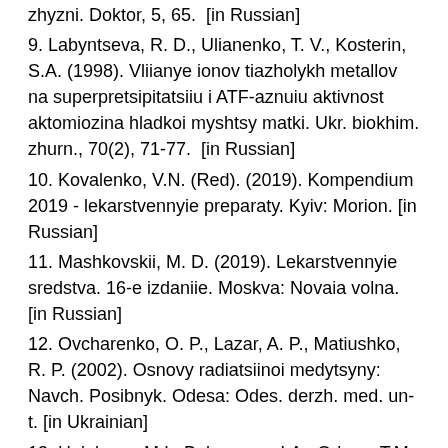zhyzni. Doktor, 5, 65.  [in Russian]
9. Labyntseva, R. D., Ulianenko, T. V., Kosterin, S.A. (1998). Vliianye ionov tiazholykh metallov na superpretsipitatsiiu i ATF-aznuiu aktivnost aktomiozina hladkoi myshtsy matki. Ukr. biokhim. zhurn., 70(2), 71-77.  [in Russian]
10. Kovalenko, V.N. (Red). (2019). Kompendium 2019 - lekarstvennyie preparaty. Kyiv: Morion. [in Russian]
11. Mashkovskii, M. D. (2019). Lekarstvennyie sredstva. 16-e izdaniie. Moskva: Novaia volna. [in Russian]
12. Ovcharenko, O. P., Lazar, A. P., Matiushko, R. P. (2002). Osnovy radiatsiinoi medytsyny: Navch. Posibnyk. Odesa: Odes. derzh. med. un-t. [in Ukrainian]
13. Holubeva, M.I., Bobryneva, I.A., Orlova, T.M.